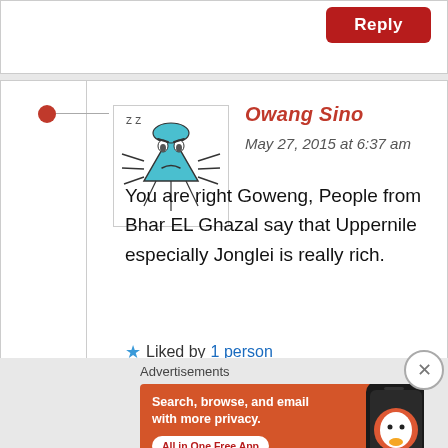Reply
Owang Sino
May 27, 2015 at 6:37 am
You are right Goweng, People from Bhar EL Ghazal say that Uppernile especially Jonglei is really rich.
★ Liked by 1 person
Reply
Advertisements
Search, browse, and email with more privacy. All in One Free App
[Figure (logo): DuckDuckGo logo on a smartphone shown in advertisement banner]